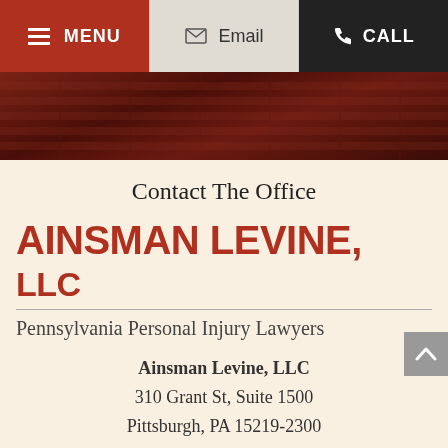MENU | Email | CALL
[Figure (photo): Dark reddish-brown brick or stone building facade hero image used as website banner background]
Contact The Office
AINSMAN LEVINE, LLC
Pennsylvania Personal Injury Lawyers
Ainsman Levine, LLC
310 Grant St, Suite 1500
Pittsburgh, PA 15219-2300
Pittsburgh Office
Toll-Free: 800-513-5065